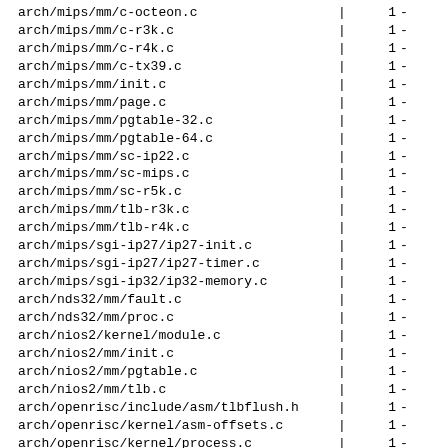arch/mips/mm/c-octeon.c | 1 -
arch/mips/mm/c-r3k.c | 1 -
arch/mips/mm/c-r4k.c | 1 -
arch/mips/mm/c-tx39.c | 1 -
arch/mips/mm/init.c | 1 -
arch/mips/mm/page.c | 1 -
arch/mips/mm/pgtable-32.c | 1 -
arch/mips/mm/pgtable-64.c | 1 -
arch/mips/mm/sc-ip22.c | 1 -
arch/mips/mm/sc-mips.c | 1 -
arch/mips/mm/sc-r5k.c | 1 -
arch/mips/mm/tlb-r3k.c | 1 -
arch/mips/mm/tlb-r4k.c | 1 -
arch/mips/sgi-ip27/ip27-init.c | 1 -
arch/mips/sgi-ip27/ip27-timer.c | 1 -
arch/mips/sgi-ip32/ip32-memory.c | 1 -
arch/nds32/mm/fault.c | 1 -
arch/nds32/mm/proc.c | 1 -
arch/nios2/kernel/module.c | 1 -
arch/nios2/mm/init.c | 1 -
arch/nios2/mm/pgtable.c | 1 -
arch/nios2/mm/tlb.c | 1 -
arch/openrisc/include/asm/tlbflush.h | 1 -
arch/openrisc/kernel/asm-offsets.c | 1 -
arch/openrisc/kernel/process.c | 1 -
arch/openrisc/kernel/ptrace.c | 1 -
arch/openrisc/kernel/setup.c | 1 -
arch/openrisc/kernel/traps.c | 1 -
arch/openrisc/mm/init.c | 1 -
arch/openrisc/mm/tlb.c | 1 -